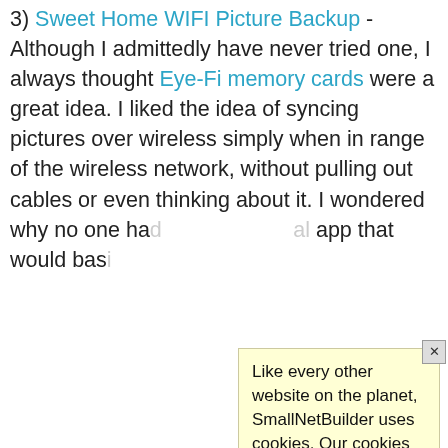3) Sweet Home WIFI Picture Backup - Although I admittedly have never tried one, I always thought Eye-Fi memory cards were a great idea. I liked the idea of syncing pictures over wireless simply when in range of the wireless network, without pulling out cables or even thinking about it. I wondered why no one had [come up with a for Android] app that would bas[ically do the same thing...]
[Figure (screenshot): Cookie consent popup overlay on SmallNetBuilder website. Yellow popup box with text: 'Like every other website on the planet, SmallNetBuilder uses cookies. Our cookies track login status, but we only allow admins to log in anyway, so those don't apply to you. Any other cookies you pick up during your visit come from advertisers, which we don't control. If you continue to use the site, you agree to tolerate our use of cookies. Thank you!' Close button (X) in top right.]
[Figure (illustration): Small icon/logo of a house with WiFi signal and a computer monitor, representing the Sweet Home WiFi Picture Backup app.]
Turns out [the app worked great] and I just [discovered it...]